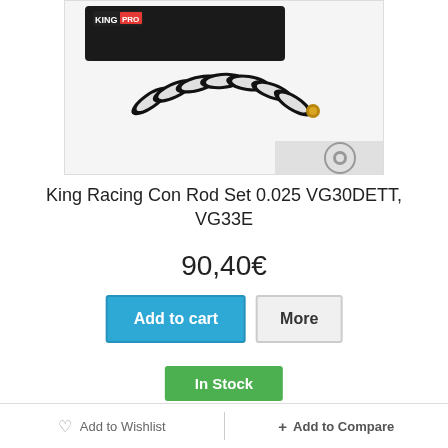[Figure (photo): King Racing con rod bearing set product photo showing black bearing shells with white inner surfaces arranged in a fan-like display, with King Racing branded packaging visible in the background]
King Racing Con Rod Set 0.025 VG30DETT, VG33E
90,40€
Add to cart
More
In Stock
Add to Wishlist  |  + Add to Compare